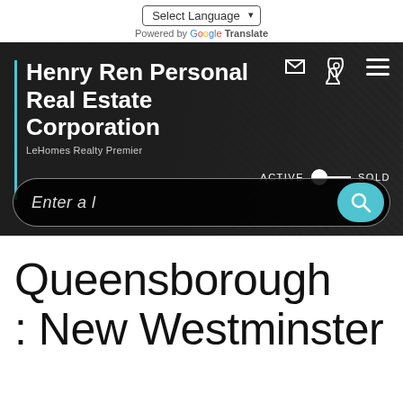[Figure (screenshot): Website header for Henry Ren Personal Real Estate Corporation with language selector, Google Translate, hero banner with company name, icons, active/sold toggle, and search bar]
Queensborough : New Westminster : Greater Vancouver